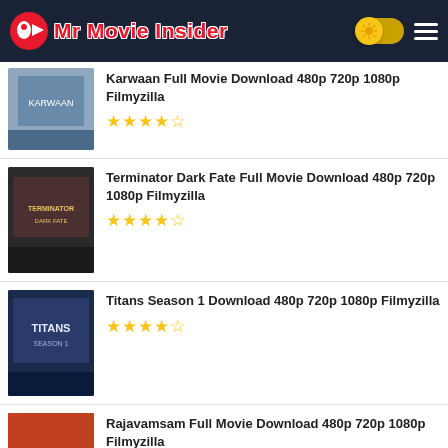Mr Movie Insider
Karwaan Full Movie Download 480p 720p 1080p Filmyzilla ★★★★½
Terminator Dark Fate Full Movie Download 480p 720p 1080p Filmyzilla ★★★★½
Titans Season 1 Download 480p 720p 1080p Filmyzilla ★★★★½
Rajavamsam Full Movie Download 480p 720p 1080p Filmyzilla ★★★★½
Thallumaala Full Movie Download 480p 720p 1080p